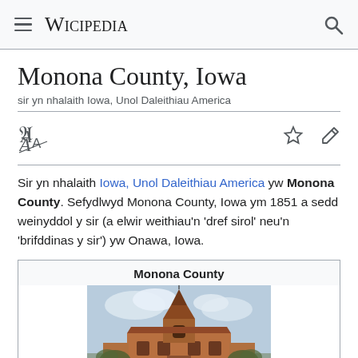≡  WICIPEDIA  🔍
Monona County, Iowa
sir yn nhalaith Iowa, Unol Daleithiau America
Sir yn nhalaith Iowa, Unol Daleithiau America yw Monona County. Sefydlwyd Monona County, Iowa ym 1851 a sedd weinyddol y sir (a elwir weithiau'n 'dref sirol' neu'n 'brifddinas y sir') yw Onawa, Iowa.
[Figure (photo): Infobox for Monona County showing title 'Monona County' and a photograph of a red brick courthouse with a clock tower against a cloudy sky]